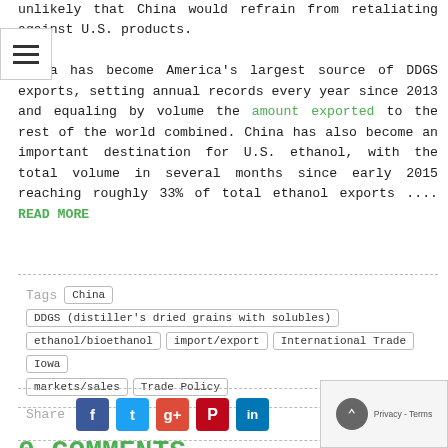unlikely that China would refrain from retaliating against U.S. products.

China has become America's largest source of DDGS exports, setting annual records every year since 2013 and equaling by volume the amount exported to the rest of the world combined. China has also become an important destination for U.S. ethanol, with the total volume in several months since early 2015 reaching roughly 33% of total ethanol exports .... READ MORE
Tags  China  DDGS (distiller's dried grains with solubles)  ethanol/bioethanol  import/export  International Trade  Iowa  markets/sales  Trade Policy
Share
0 COMMENTS